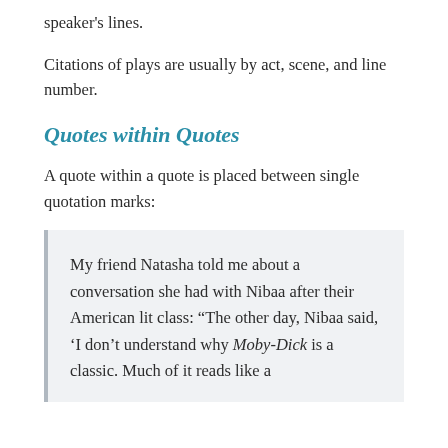speaker's lines.
Citations of plays are usually by act, scene, and line number.
Quotes within Quotes
A quote within a quote is placed between single quotation marks:
My friend Natasha told me about a conversation she had with Nibaa after their American lit class: “The other day, Nibaa said, ‘I don’t understand why Moby-Dick is a classic. Much of it reads like a